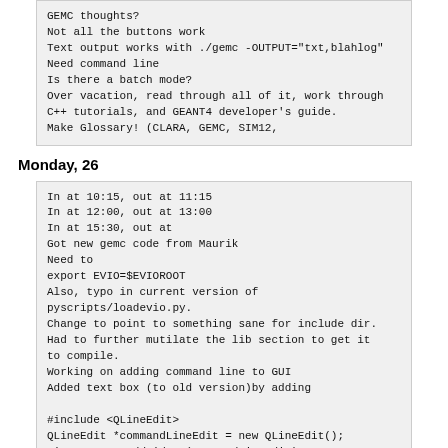GEMC thoughts?
Not all the buttons work
Text output works with ./gemc -OUTPUT="txt,blahlog"
Need command line
Is there a batch mode?
Over vacation, read through all of it, work through C++ tutorials, and GEANT4 developer's guide.
Make Glossary! (CLARA, GEMC, SIM12,
Monday, 26
In at 10:15, out at 11:15
In at 12:00, out at 13:00
In at 15:30, out at
Got new gemc code from Maurik
Need to
export EVIO=$EVIOROOT
Also, typo in current version of pyscripts/loadevio.py.
Change to point to something sane for include dir.
Had to further mutilate the lib section to get it to compile.
Working on adding command line to GUI
Added text box (to old version)by adding

#include <QLineEdit>
QLineEdit *commandLineEdit = new QLineEdit();
viewLayout->addWidget(commandLineEdit);

to gui/src/gemc_MainGui.cc.